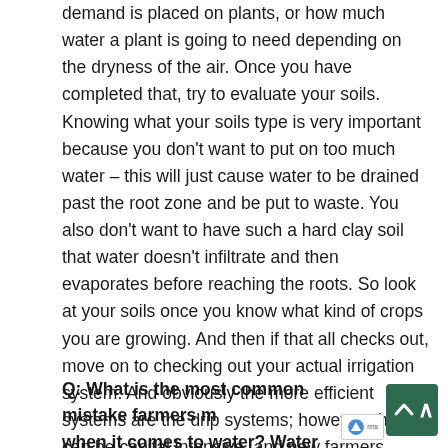demand is placed on plants, or how much water a plant is going to need depending on the dryness of the air. Once you have completed that, try to evaluate your soils. Knowing what your soils type is very important because you don't want to put on too much water – this will just cause water to be drained past the root zone and be put to waste. You also don't want to have such a hard clay soil that water doesn't infiltrate and then evaporates before reaching the roots. So look at your soils once you know what kind of crops you are growing. And then if that all checks out, move on to checking out your actual irrigation system. And obviously the more efficient systems are the drip systems; however, that can be capital intensive, and new farmers might not have the ability to obtain that. So make sure to look at the crops you are growing, the climate, and then the soils.
Q: What is the most common mistake farmers make when it comes to water? Water conservation?